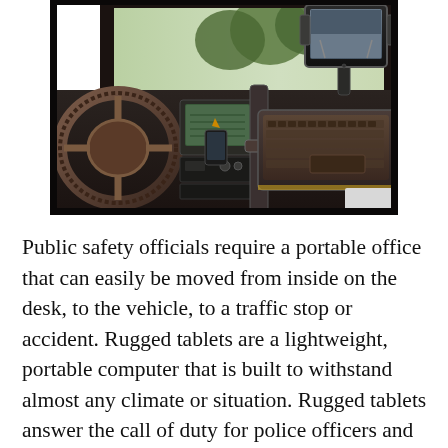[Figure (photo): Interior of a police vehicle showing rugged computer equipment mounted on the dashboard: a laptop/keyboard on a mount, a tablet on a stand, a GPS/navigation unit, radio equipment, and smartphone holder. Steering wheel visible on the left. Trees visible through the windshield.]
Public safety officials require a portable office that can easily be moved from inside on the desk, to the vehicle, to a traffic stop or accident. Rugged tablets are a lightweight, portable computer that is built to withstand almost any climate or situation. Rugged tablets answer the call of duty for police officers and first responders by being built durable, with a